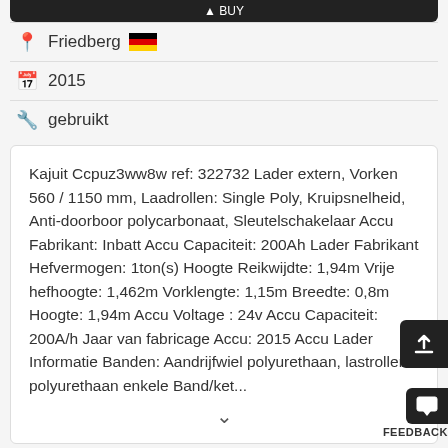[Figure (other): Dark top bar with upload/action icon]
Friedberg 🇩🇪
2015
gebruikt
Kajuit Ccpuz3ww8w ref: 322732 Lader extern, Vorken 560 / 1150 mm, Laadrollen: Single Poly, Kruipsnelheid, Anti-doorboor polycarbonaat, Sleutelschakelaar Accu Fabrikant: Inbatt Accu Capaciteit: 200Ah Lader Fabrikant Hefvermogen: 1ton(s) Hoogte Reikwijdte: 1,94m Vrije hefhoogte: 1,462m Vorklengte: 1,15m Breedte: 0,8m Hoogte: 1,94m Accu Voltage : 24v Accu Capaciteit: 200A/h Jaar van fabricage Accu: 2015 Accu Lader Informatie Banden: Aandrijfwiel polyurethaan, lastrollen polyurethaan enkele Band/ket...